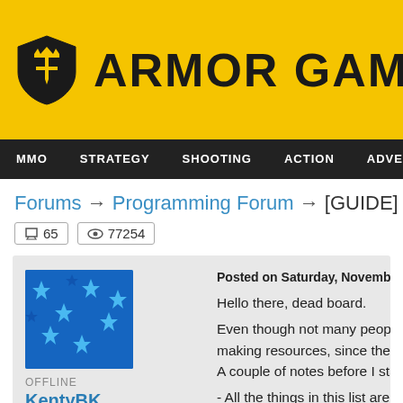[Figure (logo): Armor Games logo with shield icon and yellow background]
MMO   STRATEGY   SHOOTING   ACTION   ADVENTURE   P
Forums → Programming Forum → [GUIDE] How
65 comments   77254 views
OFFLINE
KentyBK
566 posts
★ Nomad
Posted on Saturday, November 10, 2012
Hello there, dead board.
Even though not many people making resources, since the i
A couple of notes before I sta

- All the things in this list are o
- In terms of coding resources game. However I'm not a Flas
- In case the BBCode works a google whatever you need
- This is by no means meant t
find on the internet with so